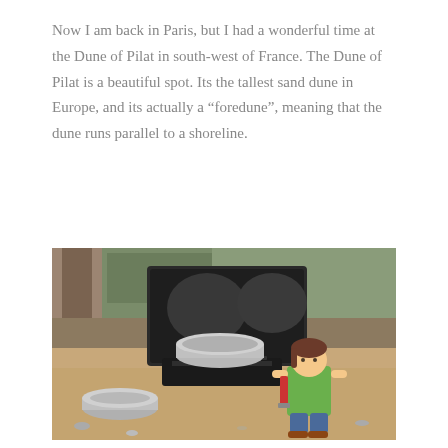Now I am back in Paris, but I had a wonderful time at the Dune of Pilat in south-west of France. The Dune of Pilat is a beautiful spot. Its the tallest sand dune in Europe, and its actually a “foredune”, meaning that the dune runs parallel to a shoreline.
[Figure (photo): Outdoor photo showing a portable camping stove with a black case open behind it, a silver pot sitting on top of the burner, another silver bowl/pan on the ground to the left, and a small stuffed doll wearing a green dress sitting to the right on sandy ground, with trees and foliage in the background.]